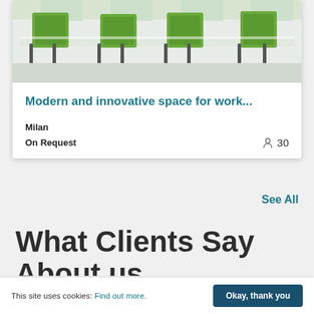[Figure (photo): Office interior with modern green mesh chairs around white tables, bright windows in background]
Modern and innovative space for work...
Milan
On Request   30
See All
What Clients Say
This site uses cookies: Find out more.  Okay, thank you